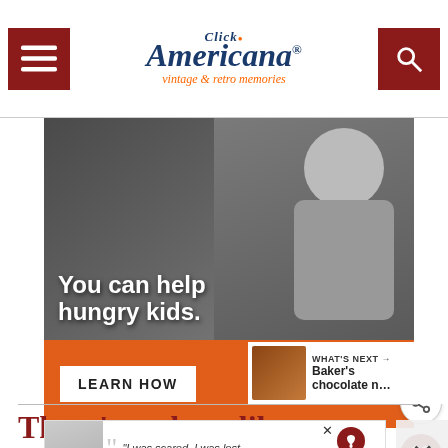Click Americana — vintage & retro memories
[Figure (photo): Advertisement banner — No Kid Hungry charity ad showing a child with text 'You can help hungry kids.' and a LEARN HOW button]
[Figure (infographic): Sidebar: What's Next — Baker's chocolate n...]
There's no hurt like
[Figure (screenshot): Bottom ad: Dave Thomas Foundation for Adoption — 'I was scared, I was lost, and I felt hopeless.']